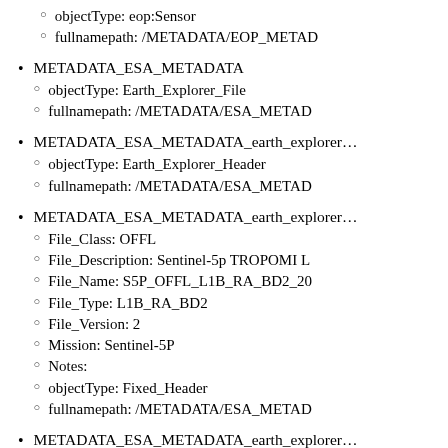objectType: eop:Sensor
fullnamepath: /METADATA/EOP_METAD...
METADATA_ESA_METADATA
METADATA_ESA_METADATA_earth_explorer...
METADATA_ESA_METADATA_earth_explorer...
METADATA_ESA_METADATA_earth_explorer...